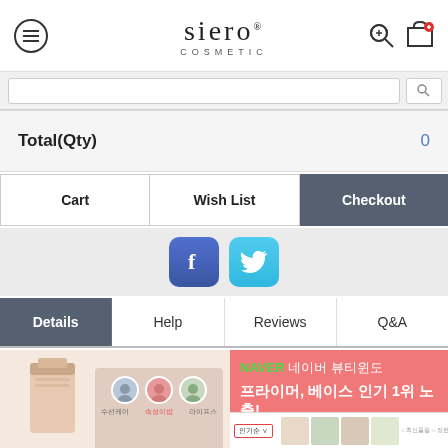siero COSMETIC
| Total(Qty) | 0 |
| --- | --- |
Cart | Wish List | Checkout
[Figure (screenshot): Facebook and Twitter social sharing icons]
Details | Help | Reviews | Q&A
[Figure (photo): Product promotion image: cosmetic tube with NAVER beauty ranking promotion showing 프라이머, 베이스 인기 1위 노출! (Primer, Base #1 ranking exposure)]